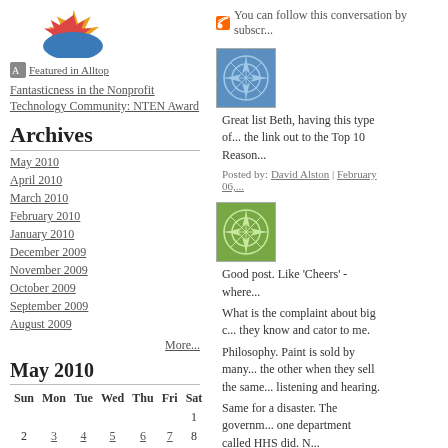[Figure (logo): Sunburst/starburst logo with orange, red and blue colors]
You can follow this conversation by subscr...
[Figure (illustration): Featured in Alltop badge icon]
Fantasticness in the Nonprofit Technology Community: NTEN Award
Archives
May 2010
April 2010
March 2010
February 2010
January 2010
December 2009
November 2009
October 2009
September 2009
August 2009
More...
May 2010
| Sun | Mon | Tue | Wed | Thu | Fri | Sat |
| --- | --- | --- | --- | --- | --- | --- |
|  |  |  |  |  |  | 1 |
| 2 | 3 | 4 | 5 | 6 | 7 | 8 |
| 9 | 10 | 11 | 12 | 13 | 14 | 15 |
| 16 | 17 | 18 | 19 | 20 | 21 | 22 |
[Figure (illustration): Blue geometric snowflake/mandala avatar image]
Great list Beth, having this type of... the link out to the Top 10 Reason...
Posted by: David Alston | February 06,...
[Figure (illustration): Green geometric snowflake/mandala avatar image]
Good post. Like 'Cheers' - where...
What is the complaint about big c... they know and cator to me.
Philosophy. Paint is sold by many... the other when they sell the same... listening and hearing.
Same for a disaster. The governm... one department called HHS did. N...
Good comment.
Kobie
www.newfluwiki2.com
"A wise man has long ears, big ey...
Posted by: Kobie | February 06, 2009 a...